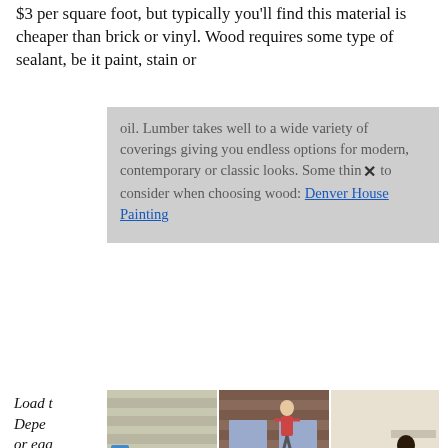$3 per square foot, but typically you'll find this material is cheaper than brick or vinyl. Wood requires some type of sealant, be it paint, stain or
oil. Lumber takes well to a wide variety of coverings giving you endless options for modern, contemporary or classic looks. Some things to consider when choosing wood: Denver House Painting
[Figure (photo): Three photos of people falling off ladders near houses: left shows person falling off ladder against beige siding, center shows person clinging to window on brick house with ladder, right shows person falling indoors with ladder.]
Load more... Depending on the sheen, flat or eggshell will work your way in a manner, overlapping extending with a coat of necessities applied. While painted degree of fading can vary depending on which sides get the most exposure to sunlight. Perhaps it still hasn't faded, but you don't like the color much. You can't go any darker than its current color, though, because the siding is designed to absorb only so much heat, and a darker color could cause it